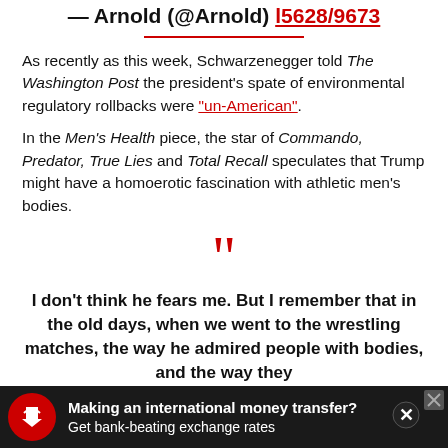— Arnold (@Arnold) 15628/9673
As recently as this week, Schwarzenegger told The Washington Post the president's spate of environmental regulatory rollbacks were "un-American".
In the Men's Health piece, the star of Commando, Predator, True Lies and Total Recall speculates that Trump might have a homoerotic fascination with athletic men's bodies.
”
I don't think he fears me. But I remember that in the old days, when we went to the wrestling matches, the way he admired people with bodies, and the way they
Making an international money transfer? Get bank-beating exchange rates